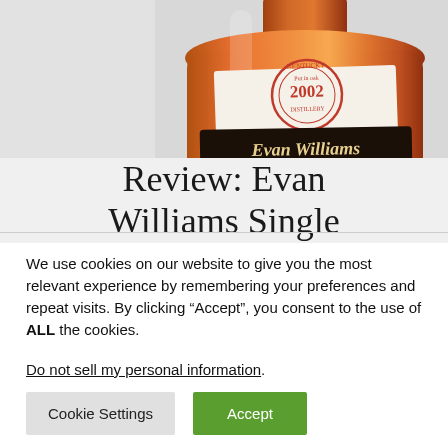[Figure (photo): Evan Williams Single Barrel bourbon whiskey bottle with a '2002' vintage label showing a circular stamp design with red text reading 'Put in oak 2002 Distillery' and a dark label reading 'Evan Williams'. The bottle has an amber/orange color.]
Review: Evan Williams Single
We use cookies on our website to give you the most relevant experience by remembering your preferences and repeat visits. By clicking “Accept”, you consent to the use of ALL the cookies.
Do not sell my personal information.
Cookie Settings
Accept